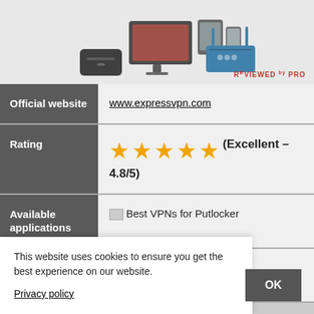[Figure (photo): Product image showing various devices: Apple TV, monitor, tablets, smartphones, and a wireless router. 'REVIEWED by PRO' watermark in bottom right.]
|  |  |
| --- | --- |
| Official website | www.expressvpn.com |
| Rating | ★★★★★ (Excellent – 4.8/5) |
| Available applications | [icon] Best VPNs for Putlocker |
| Money-back guarantee | 30-days |
This website uses cookies to ensure you get the best experience on our website.
Privacy policy
OK